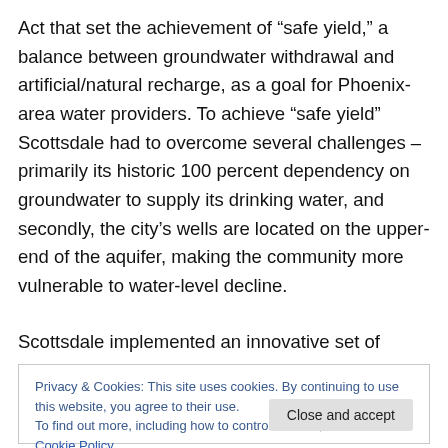Act that set the achievement of “safe yield,” a balance between groundwater withdrawal and artificial/natural recharge, as a goal for Phoenix-area water providers. To achieve “safe yield” Scottsdale had to overcome several challenges – primarily its historic 100 percent dependency on groundwater to supply its drinking water, and secondly, the city’s wells are located on the upper-end of the aquifer, making the community more vulnerable to water-level decline.
Scottsdale implemented an innovative set of water
Privacy & Cookies: This site uses cookies. By continuing to use this website, you agree to their use.
To find out more, including how to control cookies, see here: Cookie Policy
approximately 75 percent of its drinking water from